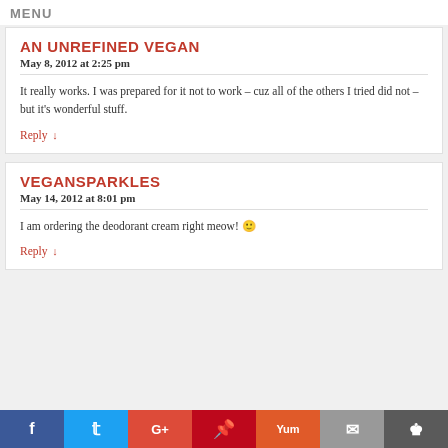MENU
AN UNREFINED VEGAN
May 8, 2012 at 2:25 pm
It really works. I was prepared for it not to work – cuz all of the others I tried did not – but it's wonderful stuff.
Reply ↓
VEGANSPARKLES
May 14, 2012 at 8:01 pm
I am ordering the deodorant cream right meow! 🙂
Reply ↓